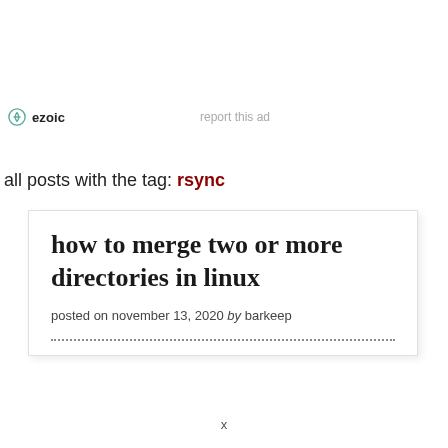[Figure (logo): Ezoic logo with green circular icon and bold text 'ezoic']
report this ad
all posts with the tag: rsync
how to merge two or more directories in linux
posted on november 13, 2020 by barkeep
x